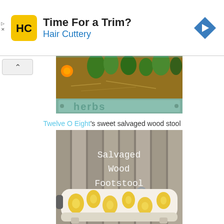[Figure (screenshot): Hair Cuttery advertisement banner with yellow/black HC logo, text 'Time For a Trim?' and 'Hair Cuttery' in blue, and a blue diamond navigation arrow icon on the right.]
[Figure (photo): Photo of a rectangular wood planter box labeled 'herbs' with soil, green plants, and an orange flower.]
Twelve O Eight's sweet salvaged wood stool
[Figure (photo): Photo of a salvaged wood footstool upholstered with yellow floral fabric, with text overlay reading 'Salvaged Wood Footstool' in white monospace font, and a grey bird stencil on top.]